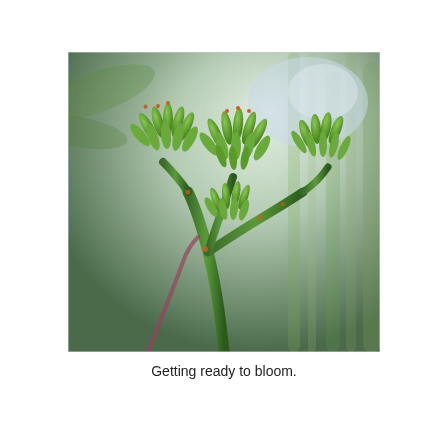[Figure (photo): Close-up photograph of plant buds clustered on green stems, getting ready to bloom. The buds are small, elongated, and bright green, arranged in clusters at the tips of branching stems. Blurred green foliage is visible in the background.]
Getting ready to bloom.